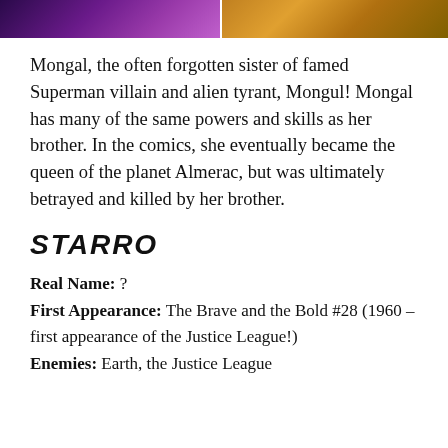[Figure (photo): Two comic book images side by side at the top of the page, left showing a purple-themed character and right showing a gold/orange-themed character]
Mongal, the often forgotten sister of famed Superman villain and alien tyrant, Mongul! Mongal has many of the same powers and skills as her brother. In the comics, she eventually became the queen of the planet Almerac, but was ultimately betrayed and killed by her brother.
STARRO
Real Name: ?
First Appearance: The Brave and the Bold #28 (1960 – first appearance of the Justice League!)
Enemies: Earth, the Justice League